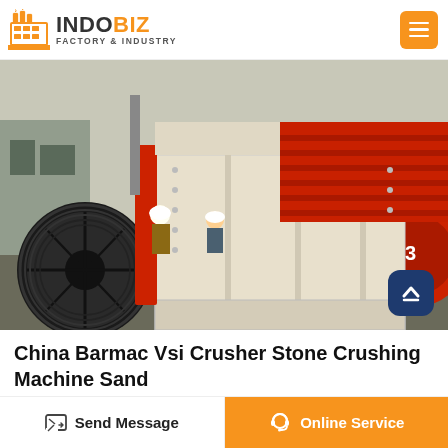INDOBIZ FACTORY & INDUSTRY
[Figure (photo): Large industrial stone crushing machine / jaw crusher painted white and red, photographed outdoors at a factory yard. Workers in hard hats visible in background. Large black pulley wheel on the left side. Machine has red-painted interior hopper at the top.]
China Barmac Vsi Crusher Stone Crushing Machine Sand
Send Message
Online Service